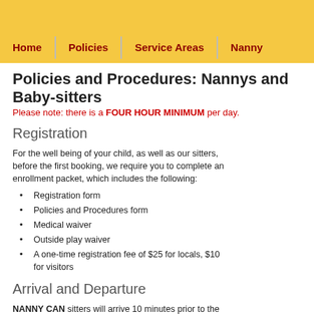Home | Policies | Service Areas | Nanny
Policies and Procedures: Nannys and Baby-sitters
Please note: there is a FOUR HOUR MINIMUM per day.
Registration
For the well being of your child, as well as our sitters, before the first booking, we require you to complete an enrollment packet, which includes the following:
Registration form
Policies and Procedures form
Medical waiver
Outside play waiver
A one-time registration fee of $25 for locals, $10 for visitors
Arrival and Departure
NANNY CAN sitters will arrive 10 minutes prior to the booking time, at no extra cost to you, in order to go over any special requests you may have for your child/children. We ask that you respect the Sitters' needs by abiding by the designated time of your return. This is our sitters are chosen for your specified times according to their availability. However, we understand and we ask that you inform the sitter if you will not be able to return at the agreed upon time. Should minutes past the booked time, a further hour will be charged. We are available for bookings during th cell phones are on 24hr a day, but are primarily used in case of an emergency. Bookings made after